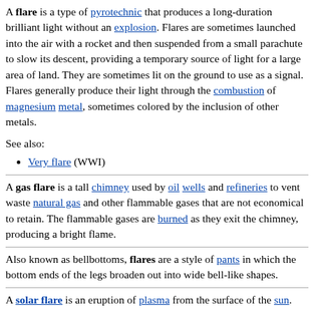A flare is a type of pyrotechnic that produces a long-duration brilliant light without an explosion. Flares are sometimes launched into the air with a rocket and then suspended from a small parachute to slow its descent, providing a temporary source of light for a large area of land. They are sometimes lit on the ground to use as a signal. Flares generally produce their light through the combustion of magnesium metal, sometimes colored by the inclusion of other metals.
See also:
Very flare (WWI)
A gas flare is a tall chimney used by oil wells and refineries to vent waste natural gas and other flammable gases that are not economical to retain. The flammable gases are burned as they exit the chimney, producing a bright flame.
Also known as bellbottoms, flares are a style of pants in which the bottom ends of the legs broaden out into wide bell-like shapes.
A solar flare is an eruption of plasma from the surface of the sun. Solar flares...